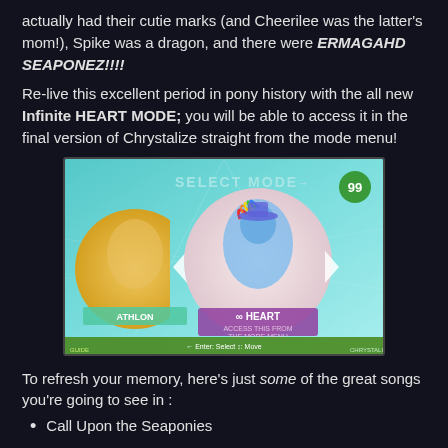actually had their cutie marks (and Cheerilee was the latter's mom!), Spike was a dragon, and there were ERMAGAHD SEAPONEZ!!!!
Re-live this excellent period in pony history with the all new Infinite HEART MODE; you will be able to access it in the final version of Chrystalize straight from the mode menu!
[Figure (screenshot): Screenshot of a video game mode selection screen showing 'SELECT MODE' at the top, a character selection carousel with a blue pony (Rainbow Dash) in the center circle labeled 'oo HEART', a golden/yellow pony partially visible on the left labeled 'ATHLON', navigation arrows on both sides, and a green circle with '99' in the top right.]
To refresh your memory, here's just some of the great songs you're going to see in :
Call Upon the Seaponies